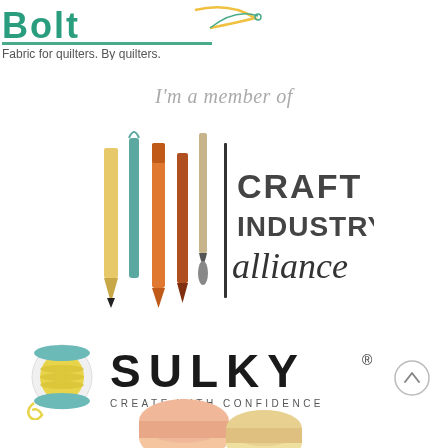[Figure (logo): Bolt logo - green teal text with needle/thread illustration and tagline 'Fabric for quilters. By quilters.']
I'm a member of
[Figure (logo): Craft Industry Alliance logo with illustrated craft tools (pencils, pens, brush, crochet hook) and text 'CRAFT INDUSTRY alliance']
[Figure (logo): Sulky logo with thread spool illustration and text 'SULKY CREATE WITH CONFIDENCE']
[Figure (other): Partial image of macarons at bottom of page]
[Figure (other): Back to top arrow button circle]